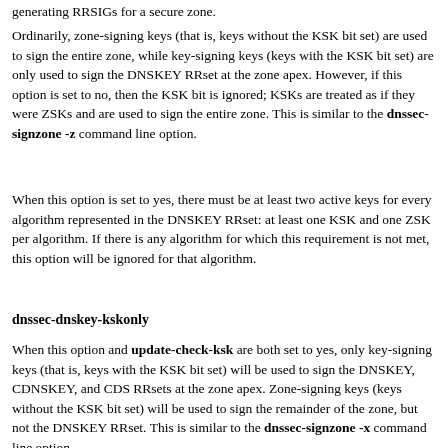generating RRSIGs for a secure zone.
Ordinarily, zone-signing keys (that is, keys without the KSK bit set) are used to sign the entire zone, while key-signing keys (keys with the KSK bit set) are only used to sign the DNSKEY RRset at the zone apex. However, if this option is set to no, then the KSK bit is ignored; KSKs are treated as if they were ZSKs and are used to sign the entire zone. This is similar to the dnssec-signzone -z command line option.
When this option is set to yes, there must be at least two active keys for every algorithm represented in the DNSKEY RRset: at least one KSK and one ZSK per algorithm. If there is any algorithm for which this requirement is not met, this option will be ignored for that algorithm.
dnssec-dnskey-kskonly
When this option and update-check-ksk are both set to yes, only key-signing keys (that is, keys with the KSK bit set) will be used to sign the DNSKEY, CDNSKEY, and CDS RRsets at the zone apex. Zone-signing keys (keys without the KSK bit set) will be used to sign the remainder of the zone, but not the DNSKEY RRset. This is similar to the dnssec-signzone -x command line option.